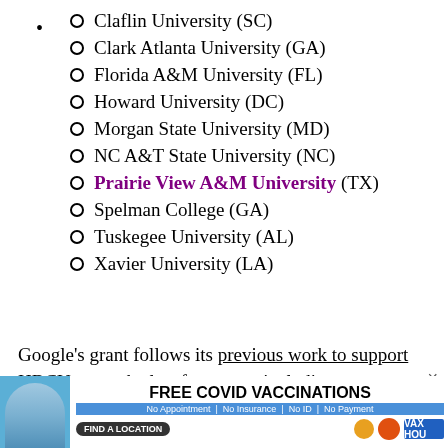Claflin University (SC)
Clark Atlanta University (GA)
Florida A&M University (FL)
Howard University (DC)
Morgan State University (MD)
NC A&T State University (NC)
Prairie View A&M University (TX)
Spelman College (GA)
Tuskegee University (AL)
Xavier University (LA)
Google's grant follows its previous work to support HBCUs over the last few years, including
[Figure (infographic): Free Covid Vaccinations advertisement banner with woman photo, text: FREE COVID VACCINATIONS, No Appointment | No Insurance | No ID | No Payment, FIND A LOCATION button, VAX HOU logo]